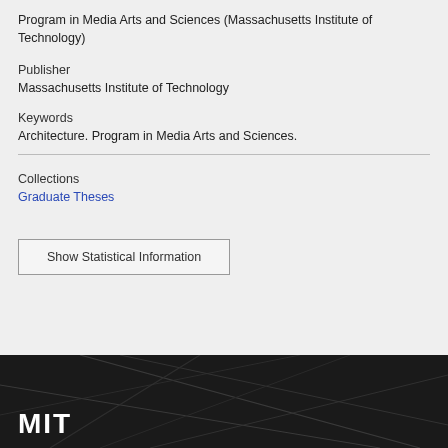Program in Media Arts and Sciences (Massachusetts Institute of Technology)
Publisher
Massachusetts Institute of Technology
Keywords
Architecture. Program in Media Arts and Sciences.
Collections
Graduate Theses
Show Statistical Information
[Figure (logo): MIT logo in white text on dark background with geometric line pattern]